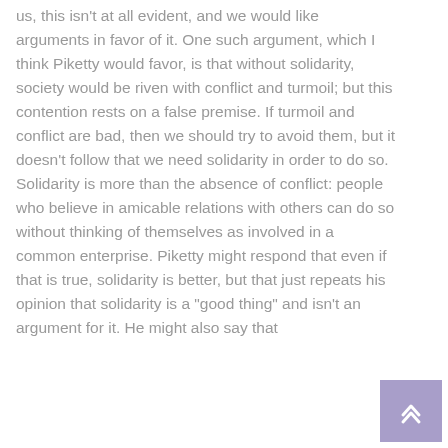us, this isn't at all evident, and we would like arguments in favor of it. One such argument, which I think Piketty would favor, is that without solidarity, society would be riven with conflict and turmoil; but this contention rests on a false premise. If turmoil and conflict are bad, then we should try to avoid them, but it doesn't follow that we need solidarity in order to do so. Solidarity is more than the absence of conflict: people who believe in amicable relations with others can do so without thinking of themselves as involved in a common enterprise. Piketty might respond that even if that is true, solidarity is better, but that just repeats his opinion that solidarity is a "good thing" and isn't an argument for it. He might also say that